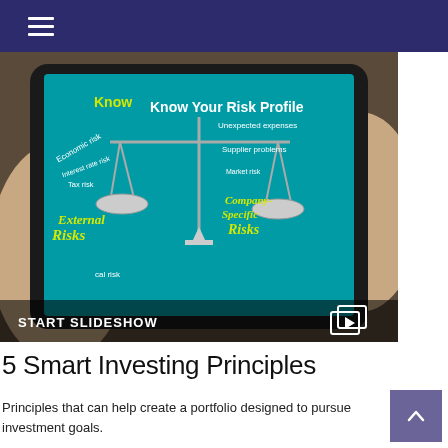[Figure (screenshot): A person holding a tablet displaying a financial risk infographic titled 'Know Your Risk Profile' showing a balance scale with 'External Risks' (Economic risk, Interest rate risk, Tax risk) on the left and 'Company-Specific Risks' (Supplier problems, Unexpected expenses, Management changes) on the right, with a 'START SLIDESHOW' overlay at the bottom.]
5 Smart Investing Principles
Principles that can help create a portfolio designed to pursue investment goals.